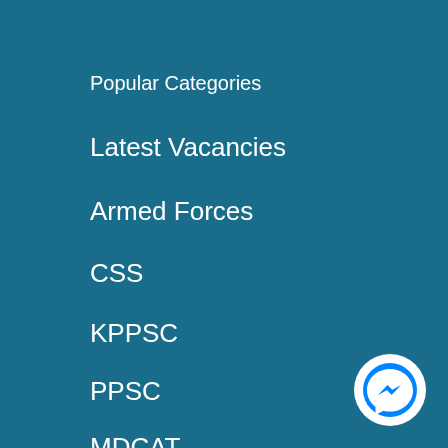Popular Categories
Latest Vacancies
Armed Forces
CSS
KPPSC
PPSC
MDCAT
[Figure (logo): Facebook Messenger logo button in white circle on blue circle background]